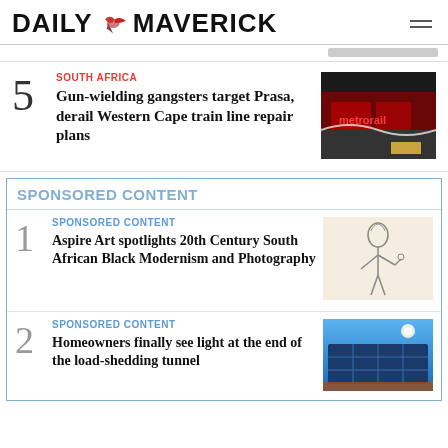DAILY MAVERICK
SOUTH AFRICA
Gun-wielding gangsters target Prasa, derail Western Cape train line repair plans
[Figure (photo): Metrorail sign illuminated in red]
SPONSORED CONTENT
SPONSORED CONTENT
Aspire Art spotlights 20th Century South African Black Modernism and Photography
[Figure (illustration): Line drawing of a woman figure]
SPONSORED CONTENT
Homeowners finally see light at the end of the load-shedding tunnel
[Figure (photo): Solar panels on a rooftop under blue sky]